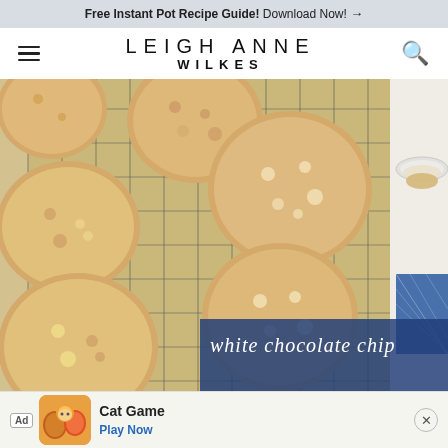Free Instant Pot Recipe Guide! Download Now! →
LEIGH ANNE WILKES
[Figure (photo): Overhead photo of white chocolate chip snickerdoodle cookies on a wire cooling rack, with a glass bowl of cinnamon sugar and a blue gingham cloth napkin visible on a marble surface. A dark blue overlay in the bottom right corner shows cursive white text reading 'white chocolate chip'.]
Ad  Cat Game  Play Now